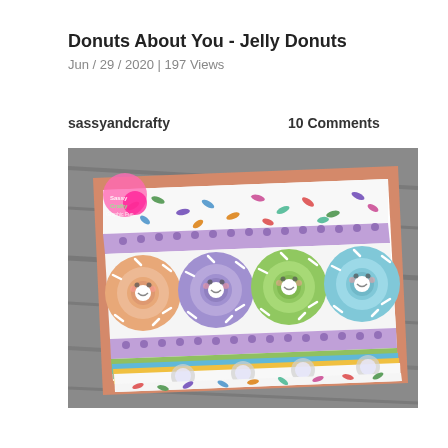Donuts About You - Jelly Donuts
Jun / 29 / 2020 | 197 Views
sassyandcrafty
10 Comments
[Figure (photo): A handmade craft card featuring four kawaii-style donuts (peach/orange, purple, green, and blue) with cute faces and sprinkles, arranged on a decorative card with jelly bean sprinkle patterned paper, purple polka-dot washi tape, and colorful striped washi tape borders. A Sassy and Crafty Graphic Fun logo watermark appears in the top-left corner.]